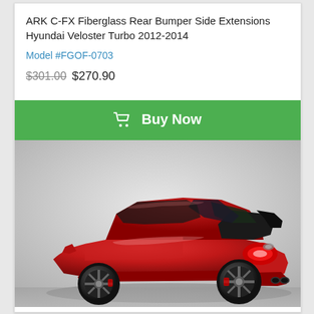ARK C-FX Fiberglass Rear Bumper Side Extensions Hyundai Veloster Turbo 2012-2014
Model #FGOF-0703
$301.00 $270.90
Buy Now
[Figure (photo): Rear three-quarter view of a red Hyundai Genesis Coupe (modified) with a large black rear spoiler, wide body kit with side skirts and rear bumper extensions, black multi-spoke wheels, and quad exhaust tips, shown against a light grey studio background.]